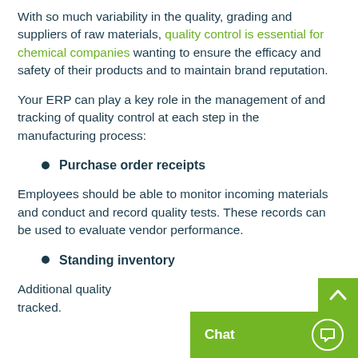With so much variability in the quality, grading and suppliers of raw materials, quality control is essential for chemical companies wanting to ensure the efficacy and safety of their products and to maintain brand reputation.
Your ERP can play a key role in the management of and tracking of quality control at each step in the manufacturing process:
Purchase order receipts
Employees should be able to monitor incoming materials and conduct and record quality tests. These records can be used to evaluate vendor performance.
Standing inventory
Additional quality... tracked.